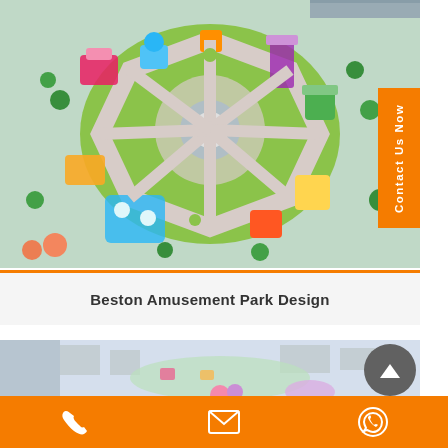[Figure (illustration): Aerial view 3D rendering of Beston amusement park design with octagonal layout, colorful rides, green pathways, fountain in center, trees, and pool area. 'Contact Us Now' orange button on right side.]
Beston Amusement Park Design
[Figure (photo): Second aerial/overhead photo of an amusement park with rides and buildings, partially visible at the bottom of the page.]
Phone | Email | WhatsApp contact icons on orange bar